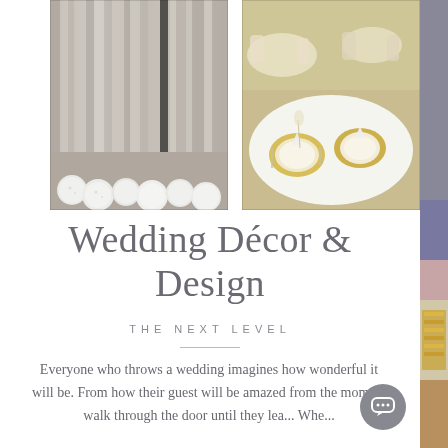[Figure (photo): Silver/champagne sequin or draped fabric curtain with white floral ball decorations at the bottom]
[Figure (photo): Wedding reception table setting with gold charger plates, white linens, and gold/amber chair covers in an elegant venue]
[Figure (photo): Partially visible right-side image showing wedding decor items including gold glittered letters and pink/peach fabric]
Wedding Décor & Design
THE NEXT LEVEL
Everyone who throws a wedding imagines how wonderful it will be. From how their guest will be amazed from the moment they walk through the door until they leave. Whe...